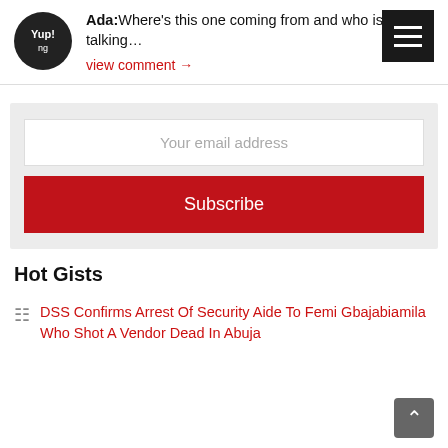Ada: Where's this one coming from and who is he talking…
view comment →
Your email address
Subscribe
Hot Gists
DSS Confirms Arrest Of Security Aide To Femi Gbajabiamila Who Shot A Vendor Dead In Abuja